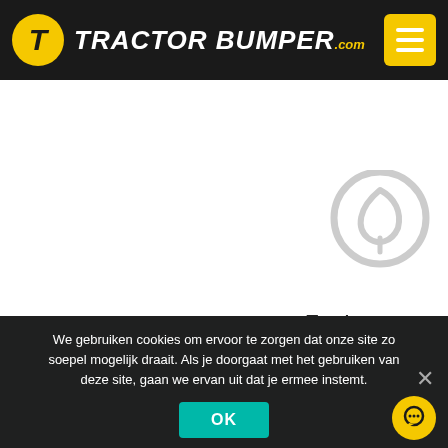[Figure (logo): Tractor Bumper .com logo with yellow T circle and white italic text, plus yellow hamburger menu button]
[Figure (illustration): Grey circular leaf/eco icon in upper right area]
Feature one
Proin consectetur augue in est convallis, vel maximus lacus sagittis. Donec sed sodales felis..
[Figure (illustration): Grey rain cloud icon with rain drops]
We gebruiken cookies om ervoor te zorgen dat onze site zo soepel mogelijk draait. Als je doorgaat met het gebruiken van deze site, gaan we ervan uit dat je ermee instemt.
[Figure (illustration): OK button (teal/green) and yellow chat bubble button]